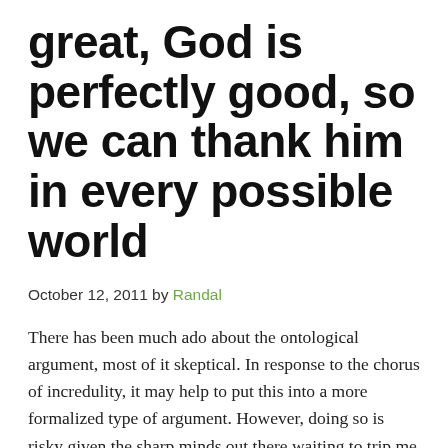great, God is perfectly good, so we can thank him in every possible world
October 12, 2011 by Randal
There has been much ado about the ontological argument, most of it skeptical. In response to the chorus of incredulity, it may help to put this into a more formalized type of argument. However, doing so is risky given the sharp minds out there waiting to trip me up. But I care more about corporate illumination [...]